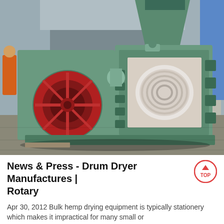[Figure (photo): Industrial drum dryer / rotary machine in green color with a prominent red circular flywheel on the front face and a hopper on top, photographed in a factory/warehouse setting.]
News & Press - Drum Dryer Manufactures | Rotary
Apr 30, 2012 Bulk hemp drying equipment is typically stationery which makes it impractical for many small or